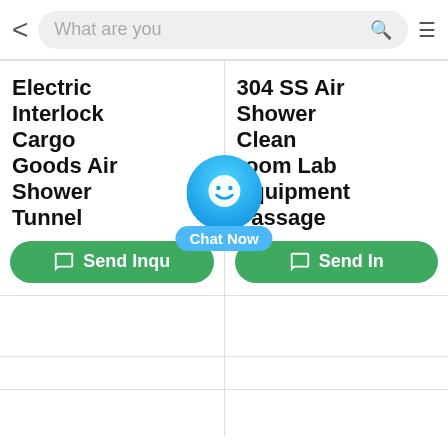[Figure (screenshot): Mobile app navigation bar with back arrow, search field reading 'What are you', green search icon, and hamburger menu icon]
Electric Interlock Cargo Goods Air Shower Tunnel
304 SS Air Shower Clean Room Lab Equipment Passage
Send Inqu
Send In
[Figure (illustration): Chat Now button overlay — blue circular chat icon with smiley face and 'Chat Now' label in blue pill shape]